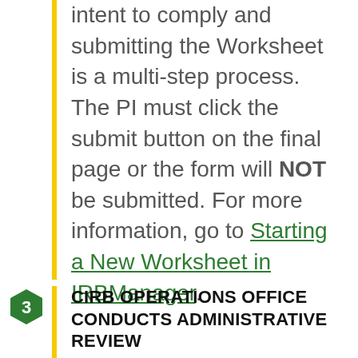intent to comply and submitting the Worksheet is a multi-step process. The PI must click the submit button on the final page or the form will NOT be submitted. For more information, go to Starting a New Worksheet in IRBManager.
CIRB OPERATIONS OFFICE CONDUCTS ADMINISTRATIVE REVIEW
After the PI approves and submits the Worksheet,